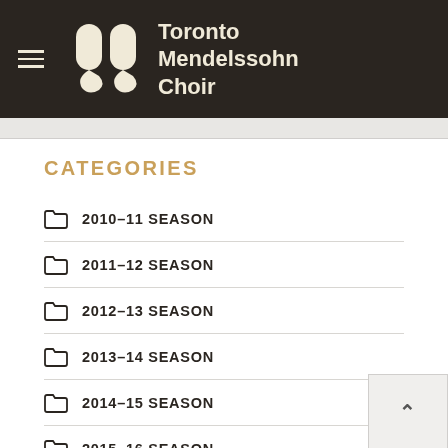Toronto Mendelssohn Choir
CATEGORIES
2010–11 SEASON
2011–12 SEASON
2012–13 SEASON
2013–14 SEASON
2014–15 SEASON
2015–16 SEASON
2016–17 SEASON